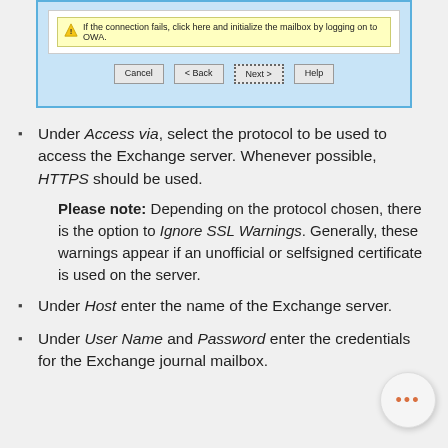[Figure (screenshot): A dialog screenshot showing a warning box 'If the connection fails, click here and initialize the mailbox by logging on to OWA.' with Cancel, Back, Next, and Help buttons.]
Under Access via, select the protocol to be used to access the Exchange server. Whenever possible, HTTPS should be used. Please note: Depending on the protocol chosen, there is the option to Ignore SSL Warnings. Generally, these warnings appear if an unofficial or selfsigned certificate is used on the server.
Under Host enter the name of the Exchange server.
Under User Name and Password enter the credentials for the Exchange journal mailbox.